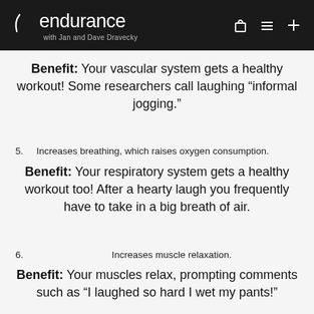endurance with Jan and Dave Dravecky
Benefit: Your vascular system gets a healthy workout! Some researchers call laughing “informal jogging.”
5. Increases breathing, which raises oxygen consumption.
Benefit: Your respiratory system gets a healthy workout too! After a hearty laugh you frequently have to take in a big breath of air.
6. Increases muscle relaxation.
Benefit: Your muscles relax, prompting comments such as “I laughed so hard I wet my pants!”